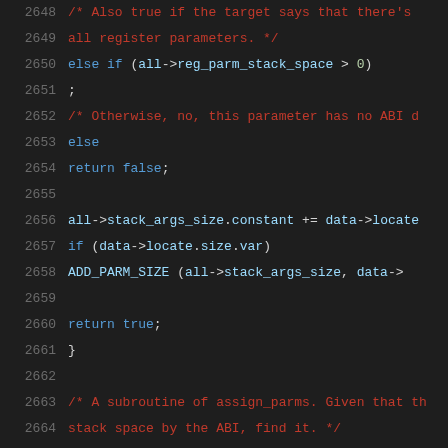Source code listing lines 2648-2668, showing C code for parameter assignment logic including comments, conditionals, and function declarations.